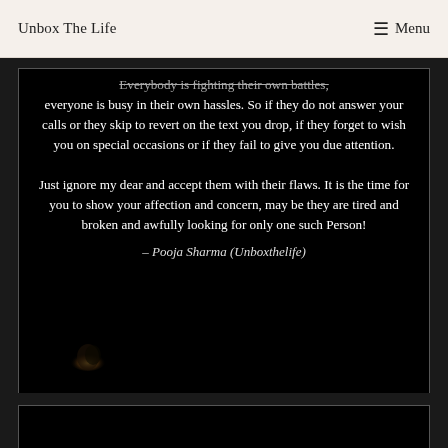Unbox The Life   ☰ Menu
Everybody is fighting their own battles, everyone is busy in their own hassles. So if they do not answer your calls or they skip to revert on the text you drop, if they forget to wish you on special occasions or if they fail to give you due attention.
Just ignore my dear and accept them with their flaws. It is the time for you to show your affection and concern, may be they are tired and broken and awfully looking for only one such Person!
– Pooja Sharma (Unboxthelife)